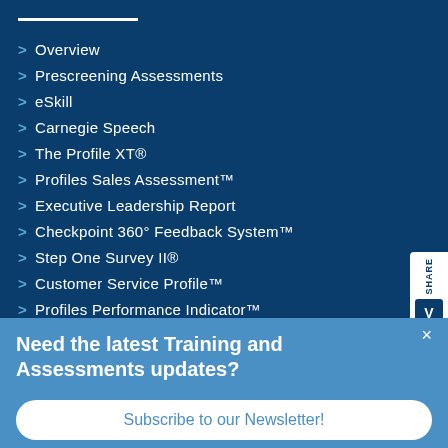Overview
Prescreening Assessments
eSkill
Carnegie Speech
The Profile XT®
Profiles Sales Assessment™
Executive Leadership Report
Checkpoint 360° Feedback System™
Step One Survey II®
Customer Service Profile™
Profiles Performance Indicator™
Need the latest Training and Assessments updates?
Subscribe to our Newsletter!